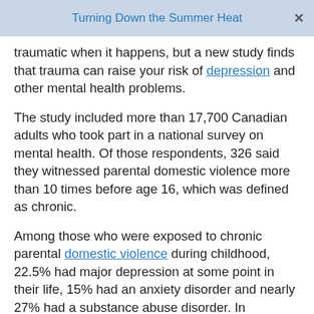Turning Down the Summer Heat
traumatic when it happens, but a new study finds that trauma can raise your risk of depression and other mental health problems.
The study included more than 17,700 Canadian adults who took part in a national survey on mental health. Of those respondents, 326 said they witnessed parental domestic violence more than 10 times before age 16, which was defined as chronic.
Among those who were exposed to chronic parental domestic violence during childhood, 22.5% had major depression at some point in their life, 15% had an anxiety disorder and nearly 27% had a substance abuse disorder. In comparison, the rates among people with no history of violence between their parents were 9%, 7% and 19%, respectively.